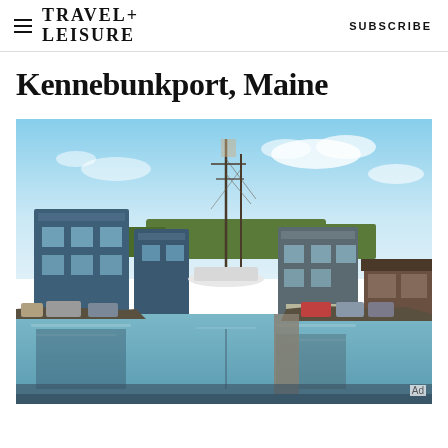TRAVEL+ LEISURE  SUBSCRIBE
Kennebunkport, Maine
[Figure (photo): Aerial view of Kennebunkport, Maine waterfront showing a calm harbor canal with blue-gray waterfront buildings on the left, a tall ship's masts visible in the background center, parked cars along a quay on the right, and residential buildings and greenery further back under a blue sky with scattered clouds.]